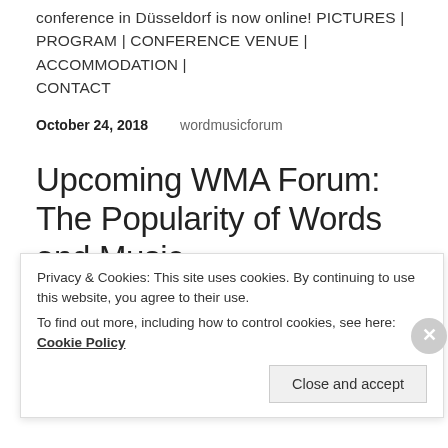conference in Düsseldorf is now online! PICTURES | PROGRAM | CONFERENCE VENUE | ACCOMMODATION | CONTACT
October 24, 2018    wordmusicforum
Upcoming WMA Forum: The Popularity of Words and Music
The Popularity of Words and Music 22–24 November 2018 Haus der Universität at Heinrich-Heine-University in Düsseldorf, Germany The Forum of the International Association for Word and Music Studies (WMAf) will
Privacy & Cookies: This site uses cookies. By continuing to use this website, you agree to their use.
To find out more, including how to control cookies, see here: Cookie Policy
Close and accept